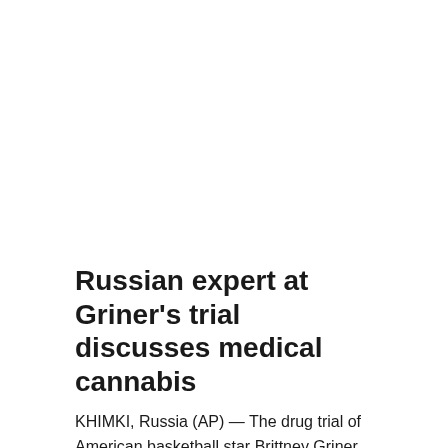Russian expert at Griner's trial discusses medical cannabis
KHIMKI, Russia (AP) — The drug trial of American basketball star Brittney Griner in a Russian court focused Tuesday on testimony that cannabis, while illegal in Russia, is regarded in other countries as having legitimate medicinal use.